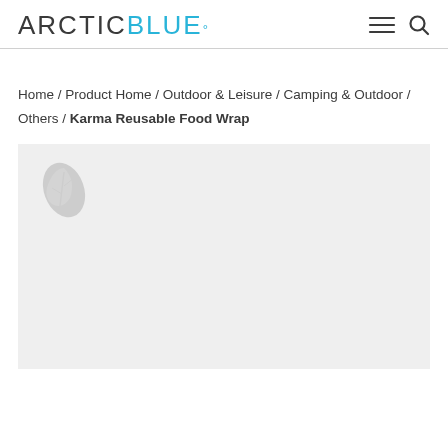ARCTIC BLUE°
Home / Product Home / Outdoor & Leisure / Camping & Outdoor / Others / Karma Reusable Food Wrap
[Figure (photo): Product image placeholder area with light gray background and faint leaf icon in top left corner]